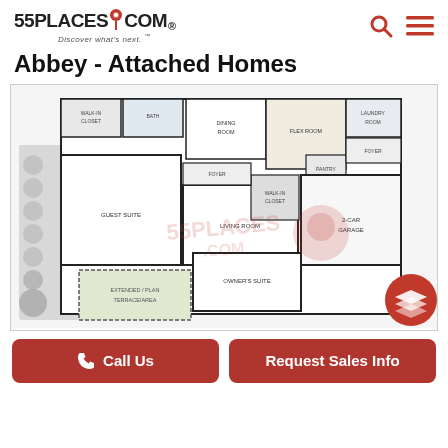55PLACES.COM Discover what's next.
Abbey - Attached Homes
[Figure (engineering-diagram): Floor plan of the Abbey Attached Homes model showing rooms including Guest Suite, Owner's Suite, Living Room, Dining Room, Flex Room, Pantry, Laundry, 2-Car Garage, Extended Patio/Terrace, and outdoor landscaping areas. Watermarked with 55PLACES.COM logo. A red circular layers icon appears in the bottom right.]
Call Us
Request Sales Info